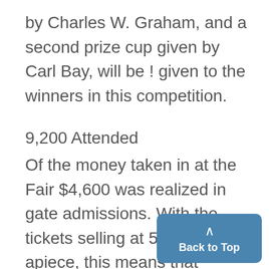by Charles W. Graham, and a second prize cup given by Carl Bay, will be ! given to the winners in this competition.
9,200 Attended
Of the money taken in at the Fair $4,600 was realized in gate admissions. With the tickets selling at 501 cents apiece, this means that 9,200' people were present at the Fair. More; than 74,000 tickets for the sideshows [ were sold. These tickets were s five cents apiece and were used